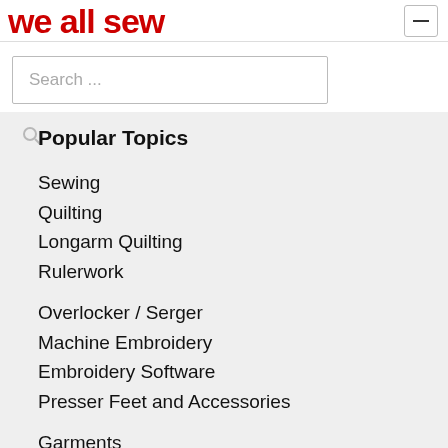we all sew
Search ...
Popular Topics
Sewing
Quilting
Longarm Quilting
Rulerwork
Overlocker / Serger
Machine Embroidery
Embroidery Software
Presser Feet and Accessories
Garments